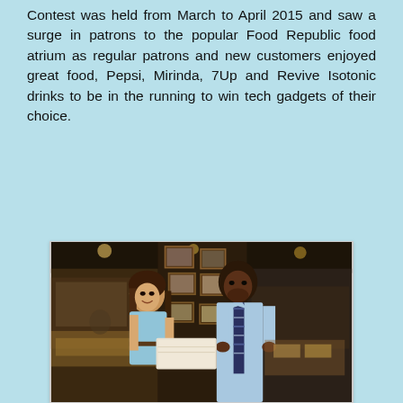Contest was held from March to April 2015 and saw a surge in patrons to the popular Food Republic food atrium as regular patrons and new customers enjoyed great food, Pepsi, Mirinda, 7Up and Revive Isotonic drinks to be in the running to win tech gadgets of their choice.
[Figure (photo): Two people in a food court setting — a woman in a light blue dress and a man in a light blue shirt with a striped tie — holding papers/envelopes together, with framed pictures on a dark pillar in the background.]